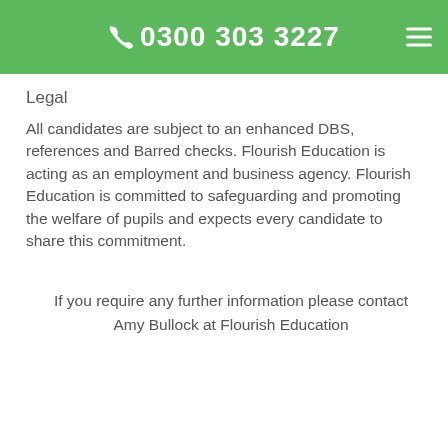0300 303 3227
Legal
All candidates are subject to an enhanced DBS, references and Barred checks. Flourish Education is acting as an employment and business agency. Flourish Education is committed to safeguarding and promoting the welfare of pupils and expects every candidate to share this commitment.
If you require any further information please contact Amy Bullock at Flourish Education